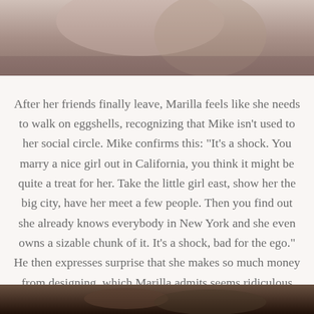[Figure (photo): Top portion of a photo showing two people, appears to be an intimate or emotional scene, cropped at the top of the page]
After her friends finally leave, Marilla feels like she needs to walk on eggshells, recognizing that Mike isn't used to her social circle. Mike confirms this: "It's a shock. You marry a nice girl out in California, you think it might be quite a treat for her. Take the little girl east, show her the big city, have her meet a few people. Then you find out she already knows everybody in New York and she even owns a sizable chunk of it. It's a shock, bad for the ego." He then expresses surprise that she makes so much money from designing, which Marilla admits seems ridiculous but she loves everything about her job. They make up and for a month, everything goes smoothly -- Marilla even gains six pounds. They inhabit their own separate worlds by day, and keep to each other by night.
[Figure (photo): Bottom portion of a photo, dark toned scene, partially visible at the bottom of the page]